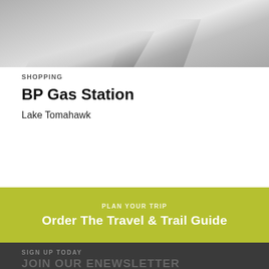[Figure (photo): Overhead photo of a concrete surface with shadows, partial view of a BP gas station canopy structure]
SHOPPING
BP Gas Station
Lake Tomahawk
PLAN YOUR TRIP
Order The Travel & Trail Guide
SIGN UP TODAY
JOIN OUR ENEWSLETTER